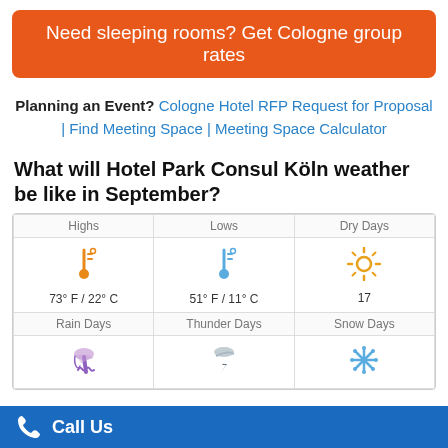Need sleeping rooms? Get Cologne group rates
Planning an Event? Cologne Hotel RFP Request for Proposal | Find Meeting Space | Meeting Space Calculator
What will Hotel Park Consul Köln weather be like in September?
| Highs | Lows | Dry Days |
| --- | --- | --- |
| 73° F / 22° C | 51° F / 11° C | 17 |
| Rain Days | Thunder Days | Snow Days |
Call Us